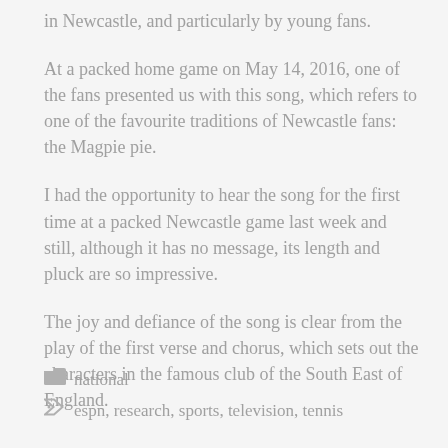in Newcastle, and particularly by young fans.
At a packed home game on May 14, 2016, one of the fans presented us with this song, which refers to one of the favourite traditions of Newcastle fans: the Magpie pie.
I had the opportunity to hear the song for the first time at a packed Newcastle game last week and still, although it has no message, its length and pluck are so impressive.
The joy and defiance of the song is clear from the play of the first verse and chorus, which sets out the characters in the famous club of the South East of England.
national
espn, research, sports, television, tennis